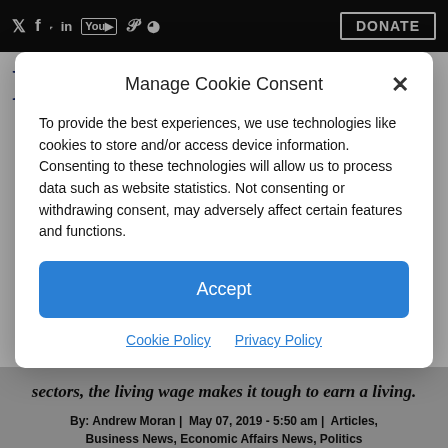Social icons bar with Twitter, Facebook, TikTok, LinkedIn, YouTube, Pinterest, RSS, and DONATE button
Liberty Nation News
Manage Cookie Consent
To provide the best experiences, we use technologies like cookies to store and/or access device information. Consenting to these technologies will allow us to process data such as website statistics. Not consenting or withdrawing consent, may adversely affect certain features and functions.
Accept
Cookie Policy  Privacy Policy
sectors, the living wage makes it tough to earn a living.
By: Andrew Moran |  May 07, 2019 - 5:50 am |  Articles, Business News, Economic Affairs News, Politics